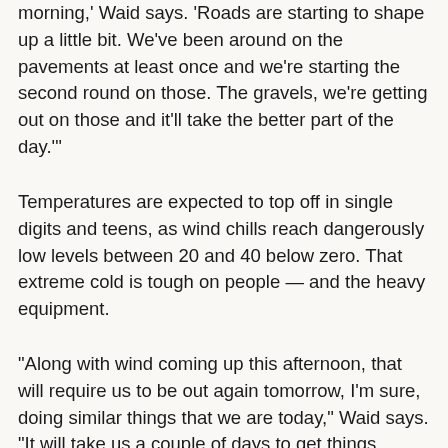morning,' Waid says. 'Roads are starting to shape up a little bit. We've been around on the pavements at least once and we're starting the second round on those. The gravels, we're getting out on those and it'll take the better part of the day.'
Temperatures are expected to top off in single digits and teens, as wind chills reach dangerously low levels between 20 and 40 below zero. That extreme cold is tough on people — and the heavy equipment.
"Along with wind coming up this afternoon, that will require us to be out again tomorrow, I'm sure, doing similar things that we are today," Waid says. "It will take us a couple of days to get things cleaned up off the gravels."